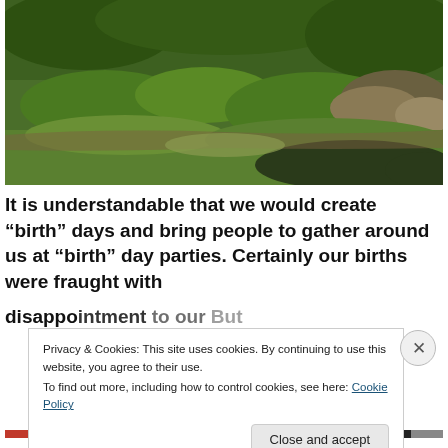[Figure (photo): Landscape photo showing moss-covered rocks and green grass in a natural outdoor setting]
It is understandable that we would create “birth” days and bring people to gather around us at “birth” day parties. Certainly our births were fraught with
Privacy & Cookies: This site uses cookies. By continuing to use this website, you agree to their use.
To find out more, including how to control cookies, see here: Cookie Policy
Close and accept